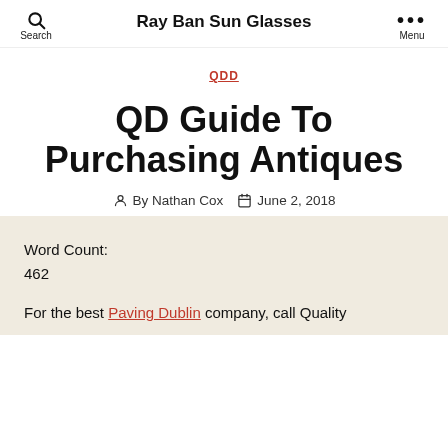Ray Ban Sun Glasses
QDD
QD Guide To Purchasing Antiques
By Nathan Cox  June 2, 2018
Word Count:
462
For the best Paving Dublin company, call Quality